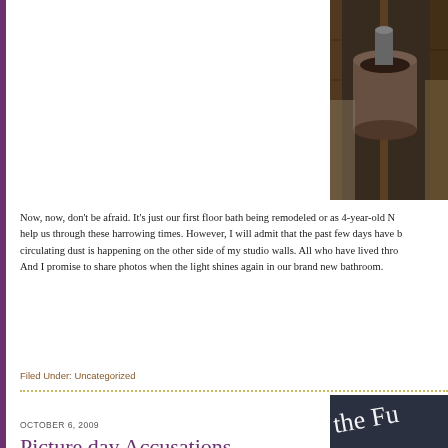[Figure (photo): Photo of bathroom remodel showing pipes and construction materials in a wall cavity]
Now, now, don't be afraid. It's just our first floor bath being remodeled or as 4-year-old N help us through these harrowing times. However, I will admit that the past few days have b circulating dust is happening on the other side of my studio walls. All who have lived thro And I promise to share photos when the light shines again in our brand new bathroom.
Filed Under: Uncategorized
OCTOBER 6, 2009
Picture day Accusations
[Figure (photo): Partial photo showing cursive text on dark background reading 'the Fu...']